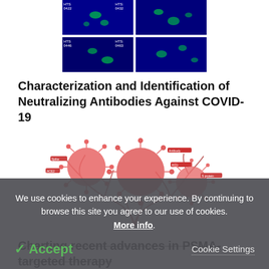[Figure (photo): Four fluorescence microscopy images arranged in 2x2 grid showing HTS samples 0422, 0432, 0446, 0463 with green fluorescence on blue background]
Characterization and Identification of Neutralizing Antibodies Against COVID-19
[Figure (illustration): Medical illustration showing coronavirus particles (red spheres with spikes and labels) attached to branching blood vessels on a white background]
Charting recent advances in PSMA-targeted therapy
We use cookies to enhance your experience. By continuing to browse this site you agree to our use of cookies. More info.
✓ Accept   Cookie Settings